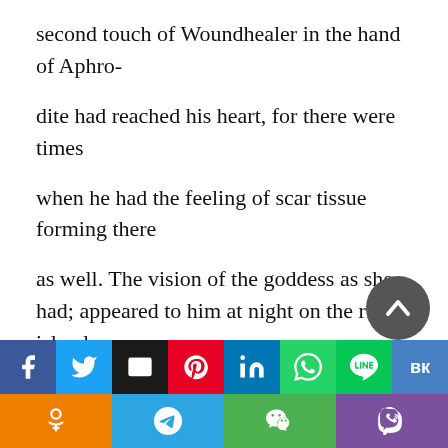second touch of Woundhealer in the hand of Aphro-

dite had reached his heart, for there were times

when he had the feeling of scar tissue forming there

as well. The vision of the goddess as she had; appeared to him at night on the river-island was

with him still. He still felt pity for her whenever he

thought of what had happened; and then, each
[Figure (infographic): Social sharing buttons bar: Facebook (blue), Twitter (light blue), Email/envelope (black), Pinterest (red), LinkedIn (dark blue), WhatsApp (green), Line (green), VK (blue) in first row; Odnoklassniki (orange), Telegram (blue), WeChat (green), Viber (purple) in second row.]